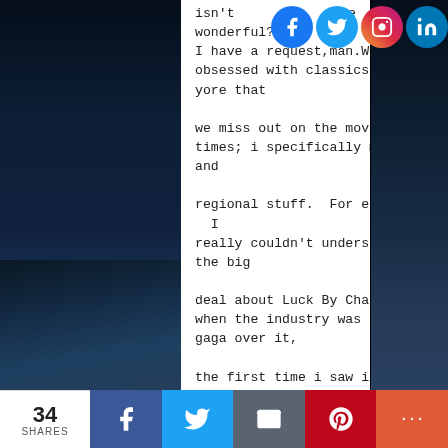[Figure (photo): Dark space/moon surface background with an astronaut figure on the right side]
isn't she wonderful?).
I have a request,man.We get obsessed with classics of the yore that
we miss out on the movies of our times; i specifically mean hindi, and
regional stuff. For example- I really couldn't understand what the big
deal about Luck By Chance was, when the industry was going gaga over it,
the first time i saw it.The second time i saw it(over the course of
time i have seen it about 10times i think), i think it's such a classic,
and is probably the best satires we have ever made(everyone pretty much
gives away that trophy to Jaane bhi do yaaron).Also, Navdeep
[Figure (logo): Social media icons: Facebook, Twitter, Instagram, LinkedIn]
34 SHARES | Facebook | Twitter | Email | Pinterest | More